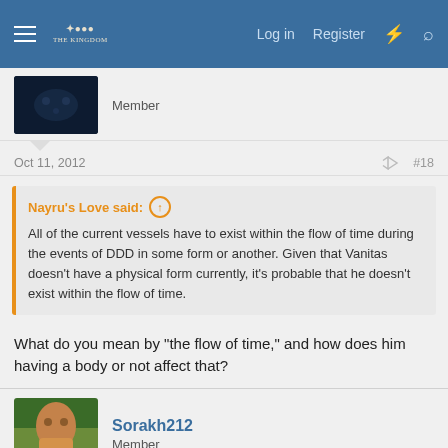Log in  Register
Member
Oct 11, 2012  #18
Nayru's Love said: ↑

All of the current vessels have to exist within the flow of time during the events of DDD in some form or another. Given that Vanitas doesn't have a physical form currently, it's probable that he doesn't exist within the flow of time.
What do you mean by "the flow of time," and how does him having a body or not affect that?
Sorakh212
Member
Oct 13, 2012  #19